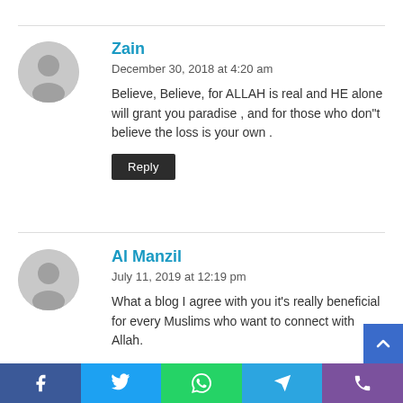Zain
December 30, 2018 at 4:20 am
Believe, Believe, for ALLAH is real and HE alone will grant you paradise , and for those who don"t believe the loss is your own .
Reply
Al Manzil
July 11, 2019 at 12:19 pm
What a blog I agree with you it’s really beneficial for every Muslims who want to connect with Allah.